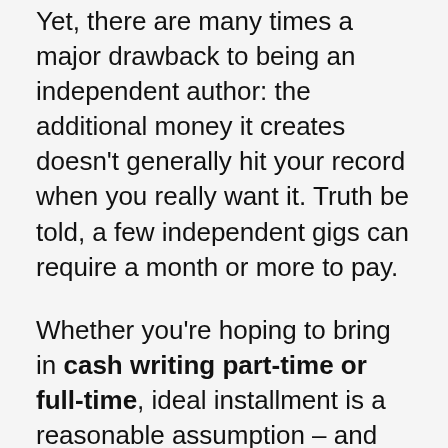Yet, there are many times a major drawback to being an independent author: the additional money it creates doesn't generally hit your record when you really want it. Truth be told, a few independent gigs can require a month or more to pay.
Whether you're hoping to bring in cash writing part-time or full-time, ideal installment is a reasonable assumption – and the capacity to pull out your assets on request can be a valuable advantage.
For this post, we combed through many writing locales to track down the not many that pay day-to-day.
It's essential to take note that two of the